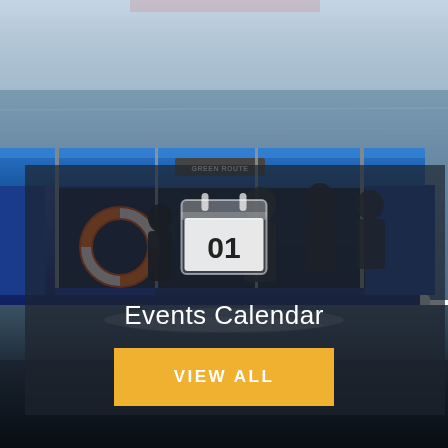[Figure (photo): Photo of a blue passenger ferry boat labeled 'GREEN ROUTE' on open water, with passengers visible inside and an orange life ring on the side. The boat has a blue canopy roof and is creating a wake in the blue-grey ocean water.]
[Figure (illustration): Calendar icon showing the number 01, white/light grey color, displayed over a dark semi-transparent overlay panel]
Events Calendar
VIEW ALL